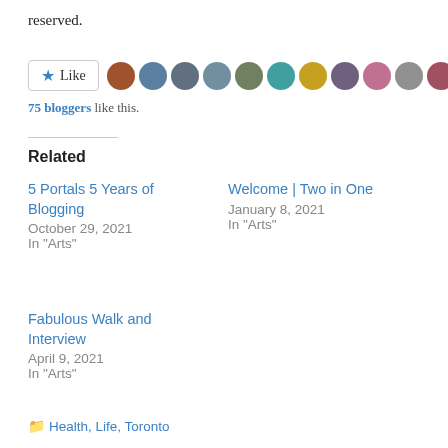reserved.
[Figure (other): Like button with star icon followed by a row of 11 circular blogger avatar thumbnails]
75 bloggers like this.
Related
5 Portals 5 Years of Blogging
October 29, 2021
In "Arts"
Welcome | Two in One
January 8, 2021
In "Arts"
Fabulous Walk and Interview
April 9, 2021
In "Arts"
Health, Life, Toronto